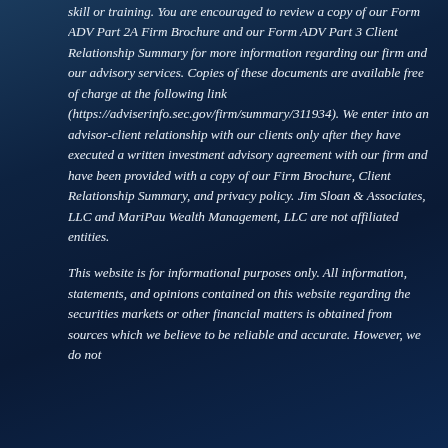skill or training. You are encouraged to review a copy of our Form ADV Part 2A Firm Brochure and our Form ADV Part 3 Client Relationship Summary for more information regarding our firm and our advisory services. Copies of these documents are available free of charge at the following link (https://adviserinfo.sec.gov/firm/summary/311934). We enter into an advisor-client relationship with our clients only after they have executed a written investment advisory agreement with our firm and have been provided with a copy of our Firm Brochure, Client Relationship Summary, and privacy policy. Jim Sloan & Associates, LLC and MariPau Wealth Management, LLC are not affiliated entities.
This website is for informational purposes only. All information, statements, and opinions contained on this website regarding the securities markets or other financial matters is obtained from sources which we believe to be reliable and accurate. However, we do not